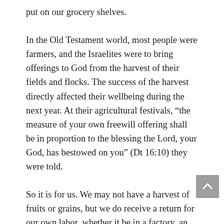put on our grocery shelves.
In the Old Testament world, most people were farmers, and the Israelites were to bring offerings to God from the harvest of their fields and flocks. The success of the harvest directly affected their wellbeing during the next year. At their agricultural festivals, “the measure of your own freewill offering shall be in proportion to the blessing the Lord, your God, has bestowed on you” (Dt 16:10) they were told.
So it is for us. We may not have a harvest of fruits or grains, but we do receive a return for our own labor, whether it be in a factory, an office, a classroom, or wherever. And, as stewards, we also are invited by God to return a portion to Him for His glory and our own